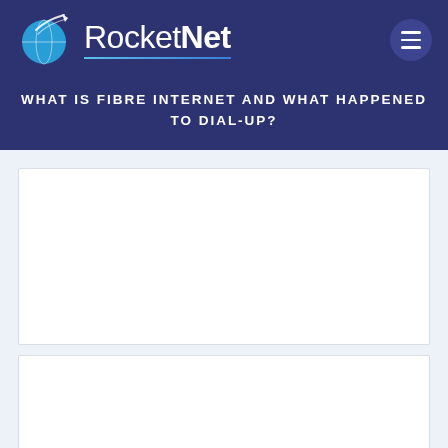[Figure (logo): RocketNet logo with globe and rocket icon, white text on dark blue background]
WHAT IS FIBRE INTERNET AND WHAT HAPPENED TO DIAL-UP?
[Figure (photo): Two white image placeholder boxes on light blue-grey background]